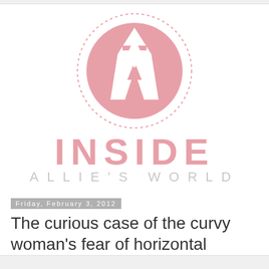[Figure (logo): Inside Allie's World blog logo: a pink circle with dotted border containing stylized A and M letters in white, with 'INSIDE' in large pink bold text and "ALLIE'S WORLD" in light gray spaced letters below]
Friday, February 3, 2012
The curious case of the curvy woman's fear of horizontal stripes